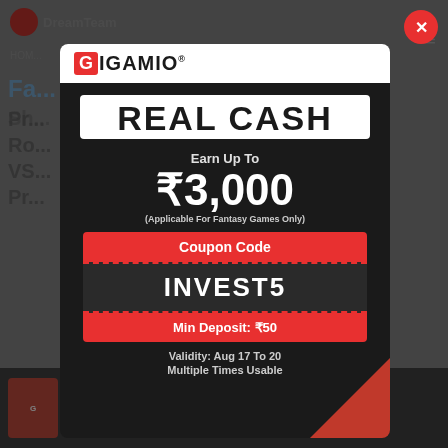[Figure (screenshot): Background page showing DreamTeam website with navigation, partially visible article title, and bottom banner with ₹3,000 text. A modal popup overlay is shown on top.]
[Figure (infographic): GIGAMIO promotional modal popup on dark background. Shows 'REAL CASH' banner, 'Earn Up To ₹3,000', coupon code 'INVEST5', 'Min Deposit: ₹50', validity Aug 17 To 20, Multiple Times Usable. Red X close button in top right corner.]
REAL CASH
Earn Up To
₹3,000
(Applicable For Fantasy Games Only)
Coupon Code
INVEST5
Min Deposit: ₹50
Validity: Aug 17 To 20
Multiple Times Usable